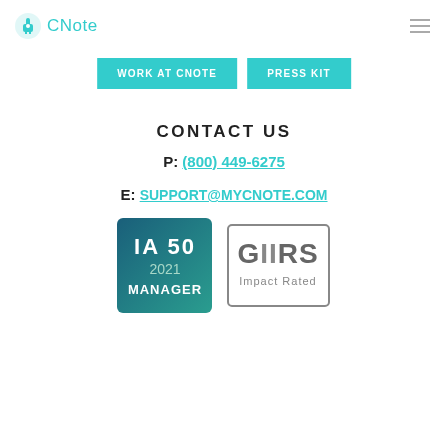[Figure (logo): CNote logo with teal plug icon and CNote wordmark in teal]
[Figure (other): Hamburger menu icon (three horizontal lines)]
WORK AT CNOTE
PRESS KIT
CONTACT US
P: (800) 449-6275
E: SUPPORT@MYCNOTE.COM
[Figure (logo): IA 50 2021 Manager badge - blue/teal gradient square badge]
[Figure (logo): GIIRS Impact Rated badge - gray bordered rectangle with GIIRS logo and Impact Rated text]